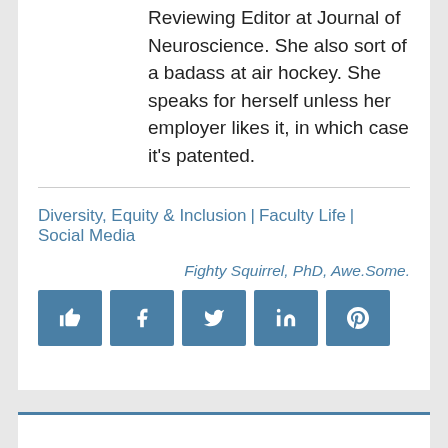Reviewing Editor at Journal of Neuroscience. She also sort of a badass at air hockey. She speaks for herself unless her employer likes it, in which case it's patented.
Diversity, Equity & Inclusion | Faculty Life | Social Media
Fighty Squirrel, PhD, Awe.Some.
[Figure (infographic): Row of 5 social media share buttons in steel blue: thumbs-up (like), Facebook (f), Twitter (bird), LinkedIn (in), Pinterest (p)]